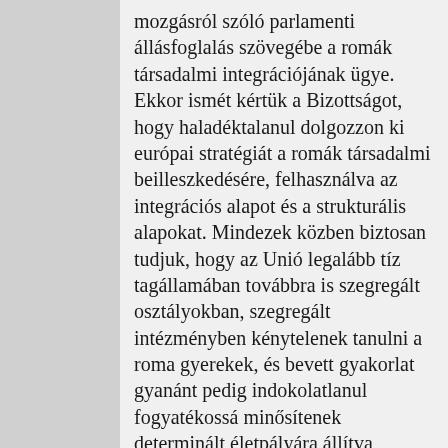mozgásról szóló parlamenti állásfoglalás szövegébe a romák társadalmi integrációjának ügye. Ekkor ismét kértük a Bizottságot, hogy haladéktalanul dolgozzon ki európai stratégiát a romák társadalmi beilleszkedésére, felhasználva az integrációs alapot és a strukturális alapokat. Mindezek közben biztosan tudjuk, hogy az Unió legalább tíz tagállamában továbbra is szegregált osztályokban, szegregált intézményben kénytelenek tanulni a roma gyerekek, és bevett gyakorlat gyanánt pedig indokolatlanul fogyatékossá minősítenek determinált életpályára állítva, örökre megbélyegezve bennünket, románkat. Sajnos minden tagállamban pontosan tudható, hogy a románk melyik nyomortelepen, hol élnek szörnyű állapotok között. Sajnálattal